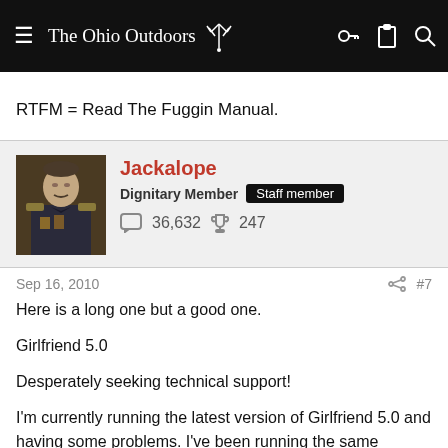The Ohio Outdoors
RTFM = Read The Fuggin Manual.
Jackalope
Dignitary Member  Staff member
36,632   247
Sep 16, 2010   #7
Here is a long one but a good one.

Girlfriend 5.0

Desperately seeking technical support!

I'm currently running the latest version of Girlfriend 5.0 and having some problems. I've been running the same version of DrinkingBuddies 1.0 for years as my primary application, and all the